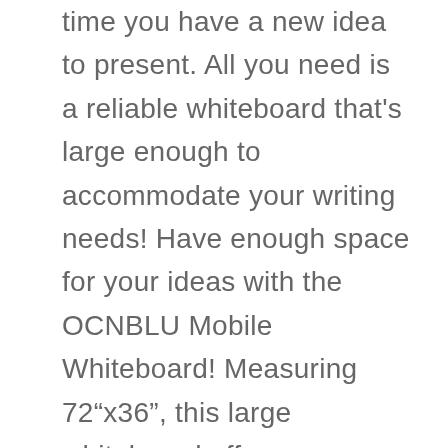time you have a new idea to present. All you need is a reliable whiteboard that's large enough to accommodate your writing needs! Have enough space for your ideas with the OCNBLU Mobile Whiteboard! Measuring 72"x36", this large whiteboard offers you ample white space to write down ideas and concepts or draw diagrams and illustrations. If that's not enough, all you have to do is flip the board, and you'll get another blank space to write on! Fitted with 4 smooth-rolling